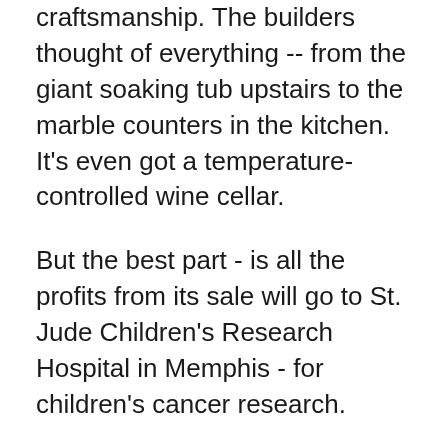craftsmanship.  The builders thought of everything -- from the giant soaking tub upstairs to the marble counters in the kitchen.  It's even got a temperature-controlled wine cellar.
But the best part - is  all the profits from its sale will go to St. Jude Children's Research Hospital in Memphis - for children's cancer research.
John Buchan Homes donated its time and resources to build the home.    Heather Dosch of John Buchan Homes said it was all to help kids, in the fight of their lives.
"Everybody that participated in the project donated something that helps keep the build costs at a bare minimum.  That allows that profit to be larger than it